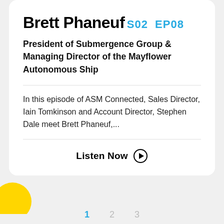Brett Phaneuf
S02  EP08
President of Submergence Group & Managing Director of the Mayflower Autonomous Ship
In this episode of ASM Connected, Sales Director, Iain Tomkinson and Account Director, Stephen Dale meet Brett Phaneuf,...
Listen Now ▶
1   2   3